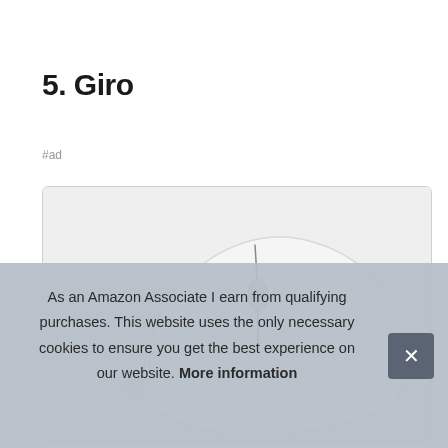5. Giro
#ad
[Figure (photo): Product photo of a white computer mouse on a light gray background]
As an Amazon Associate I earn from qualifying purchases. This website uses the only necessary cookies to ensure you get the best experience on our website. More information